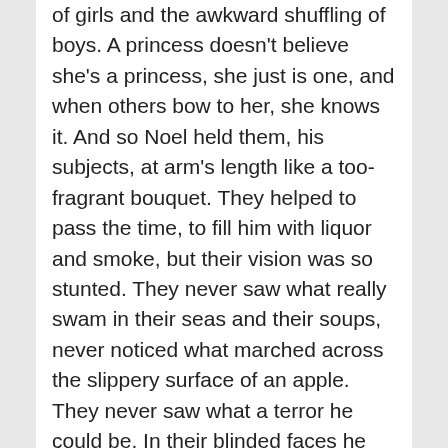of girls and the awkward shuffling of boys. A princess doesn't believe she's a princess, she just is one, and when others bow to her, she knows it. And so Noel held them, his subjects, at arm's length like a too-fragrant bouquet. They helped to pass the time, to fill him with liquor and smoke, but their vision was so stunted. They never saw what really swam in their seas and their soups, never noticed what marched across the slippery surface of an apple. They never saw what a terror he could be. In their blinded faces he saw only their awe of him: luminous as honey, it shone from their eyes and spilled over in a mess. He enchanted them, and to hold them in such thrall was to enchant himself in turn.
A too-fragrant bouquet held at arm's length, yes,